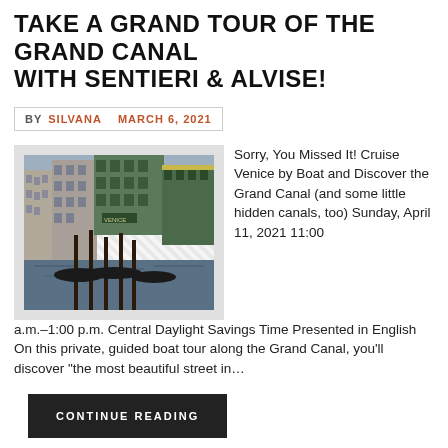TAKE A GRAND TOUR OF THE GRAND CANAL WITH SENTIERI & ALVISE!
BY SILVANA   MARCH 6, 2021
[Figure (photo): Photo of the Grand Canal in Venice showing gondolas moored at a dock with historic buildings in the background]
Sorry, You Missed It! Cruise Venice by Boat and Discover the Grand Canal (and some little hidden canals, too) Sunday, April 11, 2021 11:00 a.m.–1:00 p.m. Central Daylight Savings Time Presented in English On this private, guided boat tour along the Grand Canal, you'll discover "the most beautiful street in...
CONTINUE READING
TAGGED  Grand Canal, Italian culture, italian customs, Italian Event, italian events, Italian Food, Italian history, Italian language,